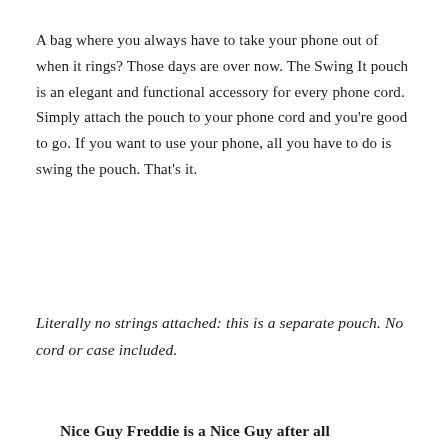A bag where you always have to take your phone out of when it rings? Those days are over now. The Swing It pouch is an elegant and functional accessory for every phone cord. Simply attach the pouch to your phone cord and you're good to go. If you want to use your phone, all you have to do is swing the pouch. That's it.
Literally no strings attached: this is a separate pouch. No cord or case included.
Nice Guy Freddie is a Nice Guy after all